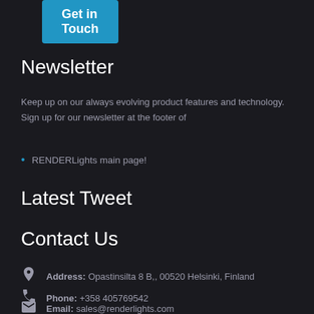[Figure (other): Blue 'Get In Touch' button at top of page]
Newsletter
Keep up on our always evolving product features and technology. Sign up for our newsletter at the footer of
RENDERLights main page!
Latest Tweet
Contact Us
Address: Opastinsilta 8 B,, 00520 Helsinki, Finland
Phone: +358 405769542
Email: sales@renderlights.com